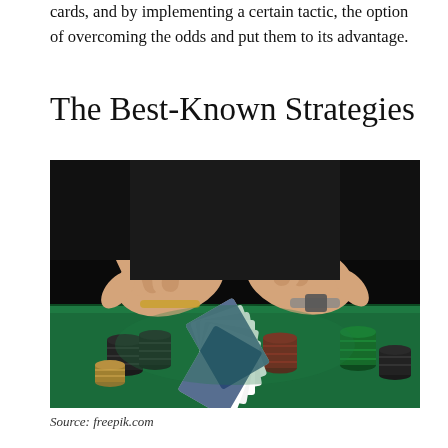cards, and by implementing a certain tactic, the option of overcoming the odds and put them to its advantage.
The Best-Known Strategies
[Figure (photo): A casino dealer's hands shuffling playing cards over a green felt table covered with poker chips of various colors (black, red, green, yellow). The dealer wears a black shirt and a watch. The photo is dark-toned with the green table illuminated.]
Source: freepik.com